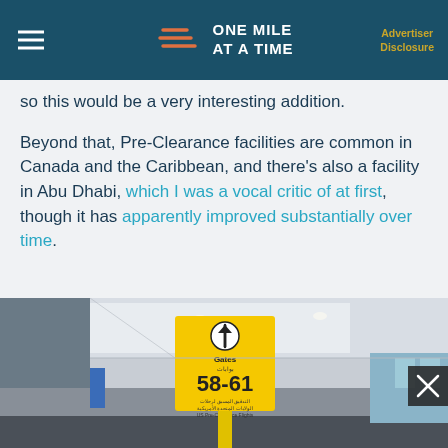ONE MILE AT A TIME | Advertiser Disclosure
so this would be a very interesting addition.
Beyond that, Pre-Clearance facilities are common in Canada and the Caribbean, and there's also a facility in Abu Dhabi, which I was a vocal critic of at first, though it has apparently improved substantially over time.
[Figure (photo): Airport corridor with a yellow gate sign showing 'Gates 58-61' and Arabic text below, indicating US Pre-Clearance flights. The corridor has white ceilings with recessed lights and windows on the right side.]